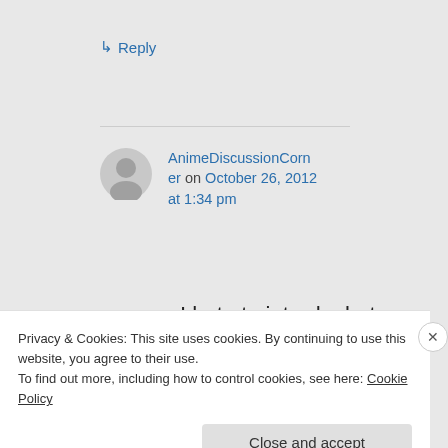↵ Reply
AnimeDiscussionCorner on October 26, 2012 at 1:34 pm
I hate to intrude, but could I exchange links with you, as well? I'm not as
Privacy & Cookies: This site uses cookies. By continuing to use this website, you agree to their use. To find out more, including how to control cookies, see here: Cookie Policy
Close and accept